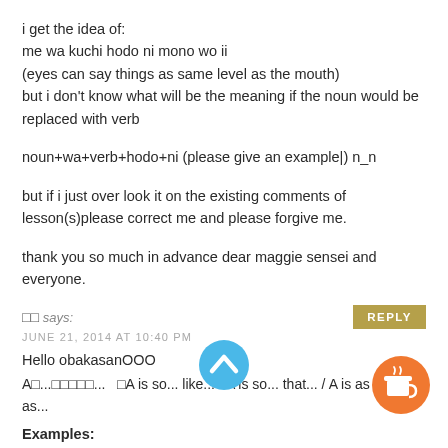i get the idea of:
me wa kuchi hodo ni mono wo ii
(eyes can say things as same level as the mouth)
but i don't know what will be the meaning if the noun would be replaced with verb
noun+wa+verb+hodo+ni (please give an example|) n_n
but if i just over look it on the existing comments of lesson(s)please correct me and please forgive me.
thank you so much in advance dear maggie sensei and everyone.
□□ says:
JUNE 21, 2014 AT 10:40 PM
Hello obakasanOOO
A□...□□□□□...   □A is so... like... / A is so... that... / A is as much... as...
Examples:
1. □□□□□□□□□□□□□□□□□□□□□(He isn't so rich like people think he is)
2. □□□□□□□□□□□□□□□□□□□□□□□□□□ (John wasn't so absorbed in playing